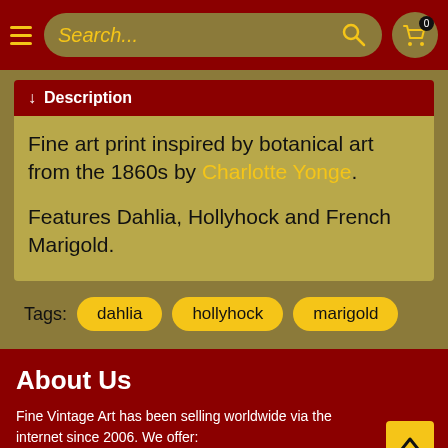Search...
↓  Description
Fine art print inspired by botanical art from the 1860s by Charlotte Yonge.

Features Dahlia, Hollyhock and French Marigold.
Tags: dahlia  hollyhock  marigold
About Us
Fine Vintage Art has been selling worldwide via the internet since 2006. We offer:
Thousands of vintage inspired art prints